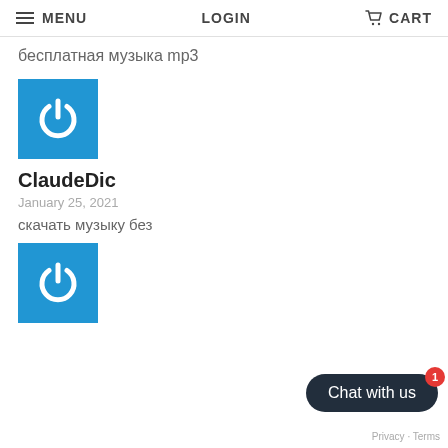MENU  LOGIN  CART
бесплатная музыка mp3
[Figure (logo): Blue square icon with white power button symbol]
ClaudeDic
January 25, 2021
скачать музыку без
[Figure (logo): Blue square icon with white power button symbol (second instance)]
Chat with us